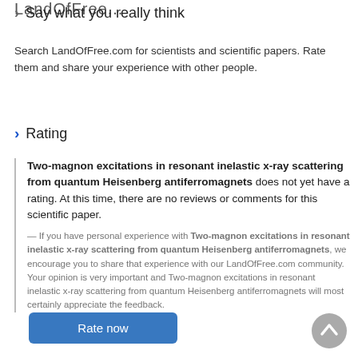LandOfFree...
Say what you really think
Search LandOfFree.com for scientists and scientific papers. Rate them and share your experience with other people.
Rating
Two-magnon excitations in resonant inelastic x-ray scattering from quantum Heisenberg antiferromagnets does not yet have a rating. At this time, there are no reviews or comments for this scientific paper.
— If you have personal experience with Two-magnon excitations in resonant inelastic x-ray scattering from quantum Heisenberg antiferromagnets, we encourage you to share that experience with our LandOfFree.com community. Your opinion is very important and Two-magnon excitations in resonant inelastic x-ray scattering from quantum Heisenberg antiferromagnets will most certainly appreciate the feedback.